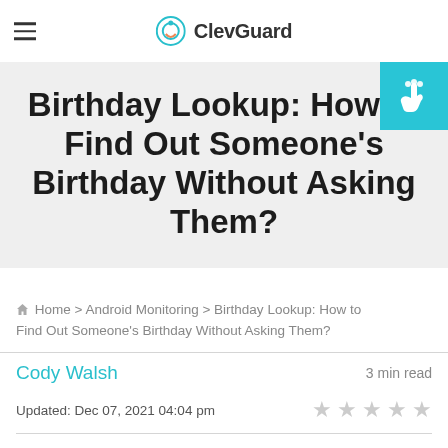ClevGuard
Birthday Lookup: How to Find Out Someone's Birthday Without Asking Them?
Home > Android Monitoring > Birthday Lookup: How to Find Out Someone's Birthday Without Asking Them?
Cody Walsh
3 min read
Updated: Dec 07, 2021 04:04 pm